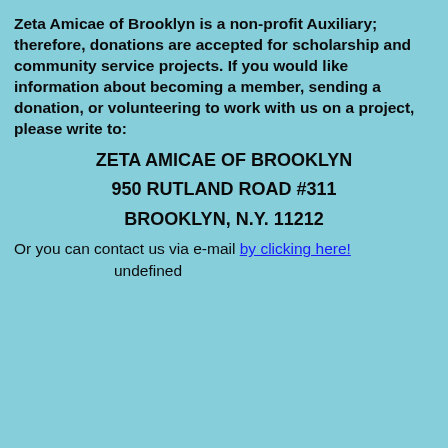Zeta Amicae of Brooklyn is a non-profit Auxiliary; therefore, donations are accepted for scholarship and community service projects. If you would like information about becoming a member, sending a donation, or volunteering to work with us on a project, please write to:
ZETA AMICAE OF BROOKLYN
950 RUTLAND ROAD #311
BROOKLYN, N.Y. 11212
Or you can contact us via e-mail by clicking here!
undefined